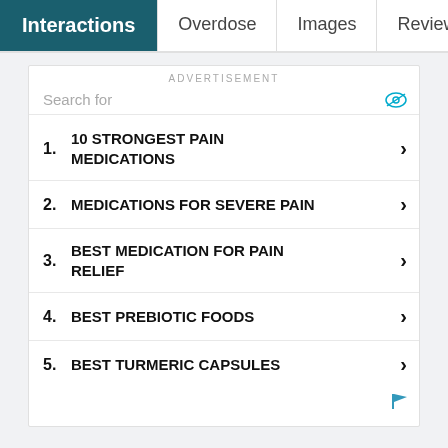Interactions | Overdose | Images | Reviews (15
ADVERTISEMENT
Search for
1. 10 STRONGEST PAIN MEDICATIONS
2. MEDICATIONS FOR SEVERE PAIN
3. BEST MEDICATION FOR PAIN RELIEF
4. BEST PREBIOTIC FOODS
5. BEST TURMERIC CAPSULES